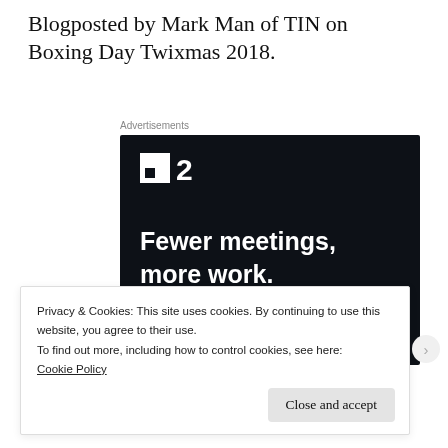Blogposted by Mark Man of TIN on Boxing Day Twixmas 2018.
[Figure (other): Advertisement banner for a project management tool (Fewer meetings, more work.) with a dark navy background, logo showing a square icon and the number 2, tagline text, and a 'Get started for free' button.]
Privacy & Cookies: This site uses cookies. By continuing to use this website, you agree to their use.
To find out more, including how to control cookies, see here: Cookie Policy